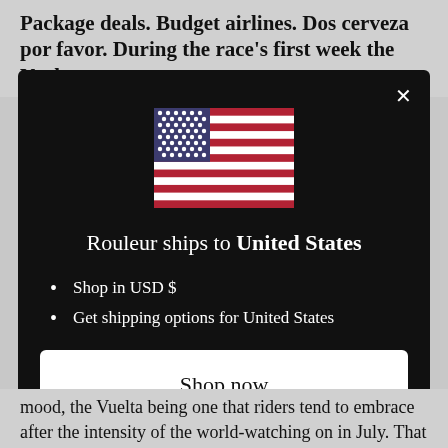Package deals. Budget airlines. Dos cerveza por favor. During the race's first week the Vuelta a
[Figure (screenshot): Modal dialog on dark background with US flag, text 'Rouleur ships to United States', bullet points 'Shop in USD $' and 'Get shipping options for United States', a 'Shop now' button, and a 'Change shipping country' link.]
mood, the Vuelta being one that riders tend to embrace after the intensity of the world-watching on in July. That